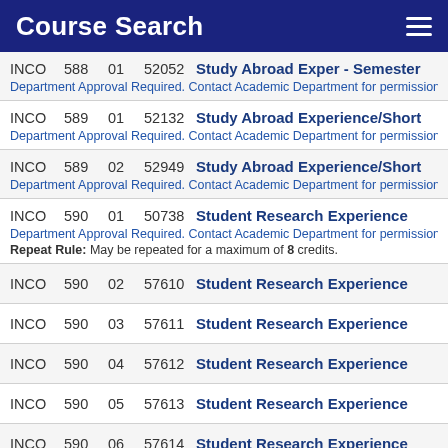Course Search
INCO 588 01 52052 Study Abroad Exper - Semester
Department Approval Required. Contact Academic Department for permission then r
INCO 589 01 52132 Study Abroad Experience/Short
Department Approval Required. Contact Academic Department for permission then r
INCO 589 02 52949 Study Abroad Experience/Short
Department Approval Required. Contact Academic Department for permission then r
INCO 590 01 50738 Student Research Experience
Department Approval Required. Contact Academic Department for permission then r
Repeat Rule: May be repeated for a maximum of 8 credits.
INCO 590 02 57610 Student Research Experience
INCO 590 03 57611 Student Research Experience
INCO 590 04 57612 Student Research Experience
INCO 590 05 57613 Student Research Experience
INCO 590 06 57614 Student Research Experience